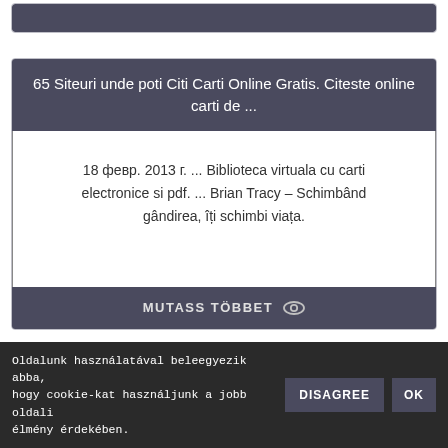65 Siteuri unde poti Citi Carti Online Gratis. Citeste online carti de ...
18 февр. 2013 г. ... Biblioteca virtuala cu carti electronice si pdf. ... Brian Tracy – Schimbând gândirea, îți schimbi viața.
MUTASS TÖBBET 👁
Carti Vechi Anticariat Online Carti Online Carte Veche - TRECA
Oldalunk használatával beleegyezik abba, hogy cookie-kat használjunk a jobb oldali élmény érdekében.